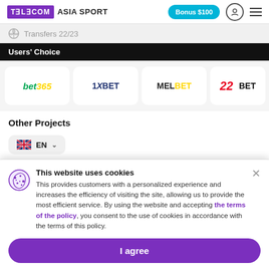TELECOM ASIA SPORT | Bonus $100
Transfers 22/23
Users' Choice
[Figure (logo): bet365 logo]
[Figure (logo): 1XBET logo]
[Figure (logo): MELBET logo]
[Figure (logo): 22BET logo]
Other Projects
EN
Follow us on Social Media
This website uses cookies
This provides customers with a personalized experience and increases the efficiency of visiting the site, allowing us to provide the most efficient service. By using the website and accepting the terms of the policy, you consent to the use of cookies in accordance with the terms of this policy.
I agree